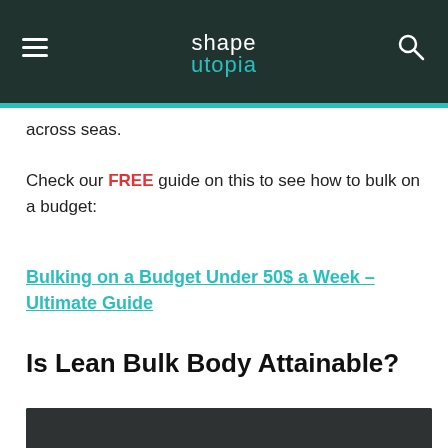shape utopia
across seas.
Check our FREE guide on this to see how to bulk on a budget:
Bulking on a Budget Under 50$ a Week – Ultimate Guide
Is Lean Bulk Body Attainable?
[Figure (photo): Black and white photo of a person's head and upper body from behind, dark background with light glow]